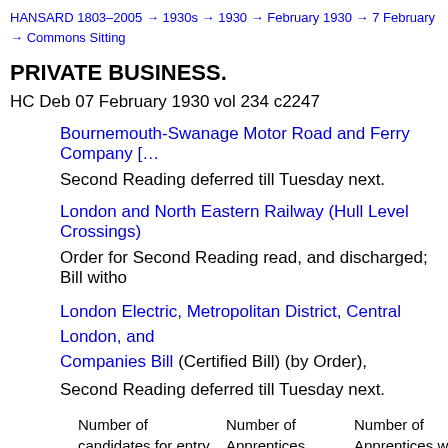HANSARD 1803–2005 → 1930s → 1930 → February 1930 → 7 February → Commons Sitting
PRIVATE BUSINESS.
HC Deb 07 February 1930 vol 234 c2247
Bournemouth-Swanage Motor Road and Ferry Company [link]
Second Reading deferred till Tuesday next.
London and North Eastern Railway (Hull Level Crossings) [link]
Order for Second Reading read, and discharged; Bill witho[drawn]
London Electric, Metropolitan District, Central London, and [other] Companies Bill (Certified Bill) (by Order),
Second Reading deferred till Tuesday next.
| Year. | Number of candidates for entry as | Number of Apprentices | Number of Apprentices who subsequently co[mpleted] four years' attendan[ce] |
| --- | --- | --- | --- |